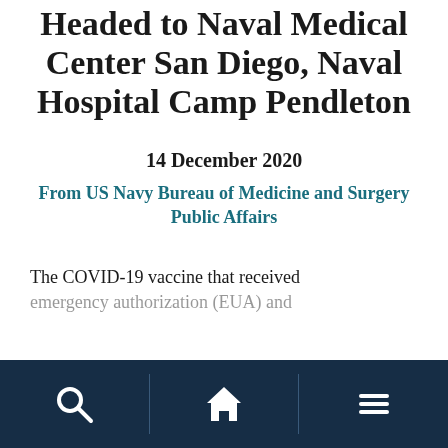Headed to Naval Medical Center San Diego, Naval Hospital Camp Pendleton
14 December 2020
From US Navy Bureau of Medicine and Surgery Public Affairs
The COVID-19 vaccine that received emergency authorization (EUA) and
[navigation bar with search, home, and menu icons]